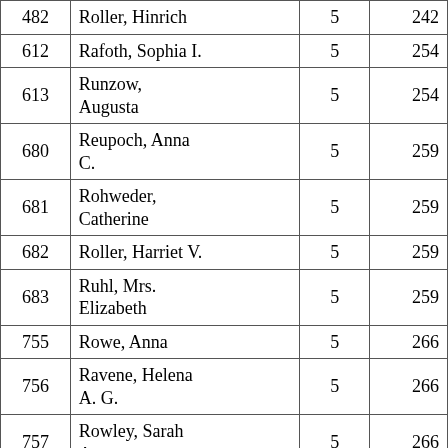| 482 | Roller, Hinrich | 5 | 242 |
| 612 | Rafoth, Sophia I. | 5 | 254 |
| 613 | Runzow, Augusta | 5 | 254 |
| 680 | Reupoch, Anna C. | 5 | 259 |
| 681 | Rohweder, Catherine | 5 | 259 |
| 682 | Roller, Harriet V. | 5 | 259 |
| 683 | Ruhl, Mrs. Elizabeth | 5 | 259 |
| 755 | Rowe, Anna | 5 | 266 |
| 756 | Ravene, Helena A. G. | 5 | 266 |
| 757 | Rowley, Sarah A. | 5 | 266 |
| 758 | Ruge, Maria D. | 5 | 273 |
| 48 | Reese, Clarence | 5 | 274 |
| 49 | Rindler, Margaretha | 5 | 279 |
| 118 | Renie, Mrs. | 5 | 285 |